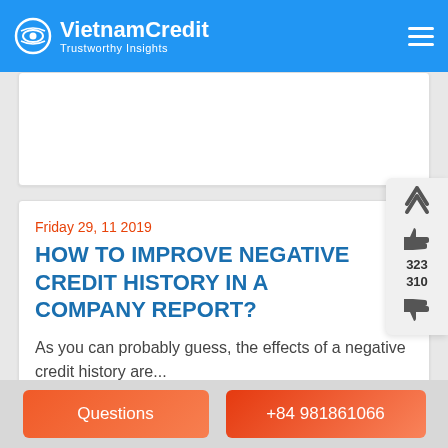VietnamCredit — Trustworthy Insights
Friday 29, 11 2019
HOW TO IMPROVE NEGATIVE CREDIT HISTORY IN A COMPANY REPORT?
As you can probably guess, the effects of a negative credit history are...
323
310
Questions | +84 981861066